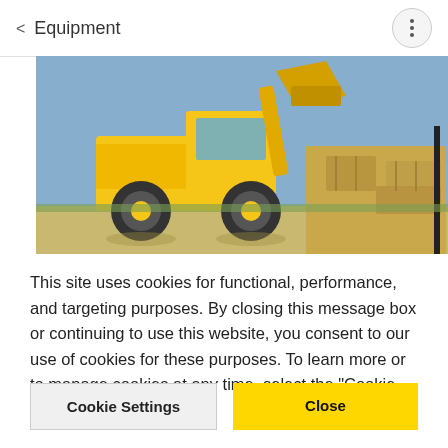< Equipment
[Figure (photo): A yellow CAT wheel loader carrying a load of hay bales outdoors, side view against a blue sky.]
This site uses cookies for functional, performance, and targeting purposes. By closing this message box or continuing to use this website, you consent to our use of cookies for these purposes. To learn more or to manage cookies at any time, select the "Cookie Settings" button.
Cookie Settings
Close